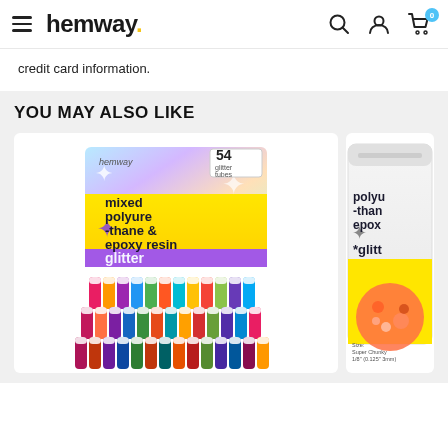hemway. [hamburger menu, search icon, account icon, cart icon with badge 0]
credit card information.
YOU MAY ALSO LIKE
[Figure (photo): Hemway mixed polyurethane & epoxy resin glitter set box with 54 glitter tubes, rainbow/holographic packaging with purple and yellow design, shown with multiple glitter tubes arranged in front]
[Figure (photo): Hemway polyurethane & epoxy resin glitter product bag with white and yellow packaging, showing chunky orange/red glitter, partially visible on right edge]